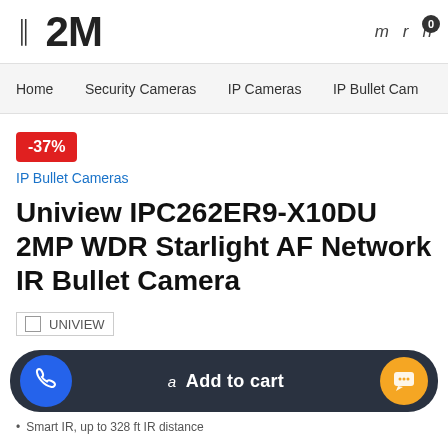2M
Home  Security Cameras  IP Cameras  IP Bullet Cam...
-37%
IP Bullet Cameras
Uniview IPC262ER9-X10DU 2MP WDR Starlight AF Network IR Bullet Camera
[Figure (logo): UNIVIEW brand logo placeholder]
Add to cart
Smart IR, up to 328 ft IR distance